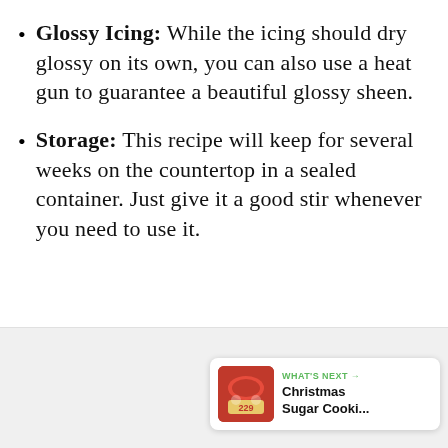Glossy Icing: While the icing should dry glossy on its own, you can also use a heat gun to guarantee a beautiful glossy sheen.
Storage: This recipe will keep for several weeks on the countertop in a sealed container. Just give it a good stir whenever you need to use it.
[Figure (screenshot): UI overlay with heart/like button (green circle with heart icon), count label '9', and share button]
[Figure (screenshot): Bottom card showing 'WHAT'S NEXT →' label in green with 'Christmas Sugar Cooki...' text next to a thumbnail of Christmas sugar cookies]